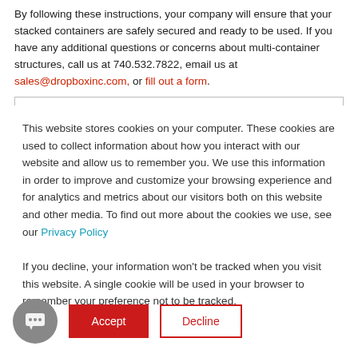By following these instructions, your company will ensure that your stacked containers are safely secured and ready to be used. If you have any additional questions or concerns about multi-container structures, call us at 740.532.7822, email us at sales@dropboxinc.com, or fill out a form.
This website stores cookies on your computer. These cookies are used to collect information about how you interact with our website and allow us to remember you. We use this information in order to improve and customize your browsing experience and for analytics and metrics about our visitors both on this website and other media. To find out more about the cookies we use, see our Privacy Policy
If you decline, your information won't be tracked when you visit this website. A single cookie will be used in your browser to remember your preference not to be tracked.